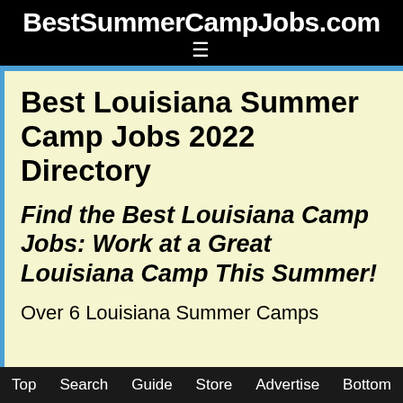BestSummerCampJobs.com
Best Louisiana Summer Camp Jobs 2022 Directory
Find the Best Louisiana Camp Jobs: Work at a Great Louisiana Camp This Summer!
Over 6 Louisiana Summer Camps
Top  Search  Guide  Store  Advertise  Bottom